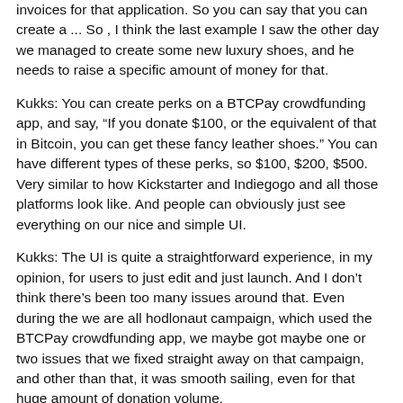invoices for that application. So you can say that you can create a ... So , I think the last example I saw the other day we managed to create some new luxury shoes, and he needs to raise a specific amount of money for that.
Kukks: You can create perks on a BTCPay crowdfunding app, and say, "If you donate $100, or the equivalent of that in Bitcoin, you can get these fancy leather shoes." You can have different types of these perks, so $100, $200, $500. Very similar to how Kickstarter and Indiegogo and all those platforms look like. And people can obviously just see everything on our nice and simple UI.
Kukks: The UI is quite a straightforward experience, in my opinion, for users to just edit and just launch. And I don't think there's been too many issues around that. Even during the we are all hodlonaut campaign, which used the BTCPay crowdfunding app, we maybe got maybe one or two issues that we fixed straight away on that campaign, and other than that, it was smooth sailing, even for that huge amount of donation volume.